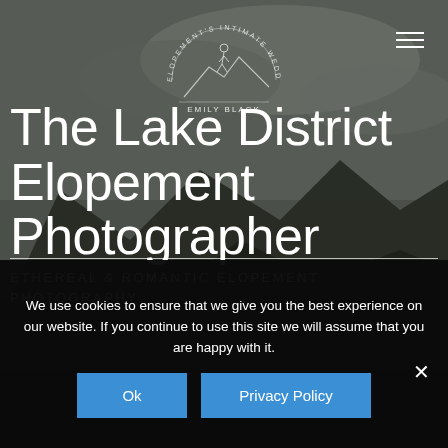[Figure (photo): Dark moody landscape photograph of mountain terrain in The Lake District with overcast stormy sky and a couple of figures visible in the lower middle distance]
[Figure (logo): Circular logo with text 'ELOPEMENT'S INTIMATE WEDDING PHOTOGRAPHERS' around the edge and 'EMILY BLACK' below a line illustration of mountains and a jumping figure]
The Lake District Elopement Photographer
ETHEREAL & ROMANTIC ELOPEMENT PHOTOGRAPHY
We use cookies to ensure that we give you the best experience on our website. If you continue to use this site we will assume that you are happy with it.
Ok
Privacy Policy